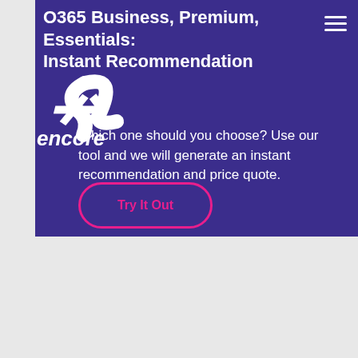O365 Business, Premium, Essentials: Instant Recommendation
[Figure (logo): Encore logo with swoosh mark and italic text 'encore']
Which one should you choose? Use our tool and we will generate an instant recommendation and price quote.
Try It Out